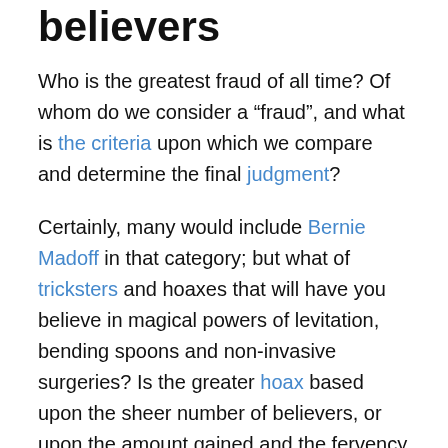believers
Who is the greatest fraud of all time?  Of whom do we consider a “fraud”, and what is the criteria upon which we compare and determine the final judgment?
Certainly, many would include Bernie Madoff in that category; but what of tricksters and hoaxes that will have you believe in magical powers of levitation, bending spoons and non-invasive surgeries?  Is the greater hoax based upon the sheer number of believers, or upon the amount gained and the fervency of trust betrayed?  Do the number of believers following a cult leader count, based upon the quantifiable nature of the fraud itself, or is it the level of unquestioning belief that makes up for the lesser crowds garnered?
And what about the common fraudster — of the smiling